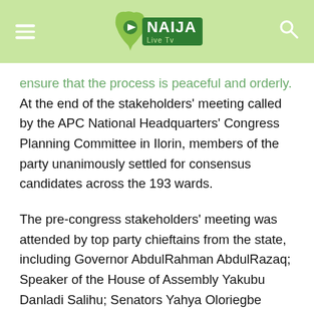Naija Live TV
ensure that the process is peaceful and orderly.
At the end of the stakeholders' meeting called by the APC National Headquarters' Congress Planning Committee in Ilorin, members of the party unanimously settled for consensus candidates across the 193 wards.
The pre-congress stakeholders' meeting was attended by top party chieftains from the state, including Governor AbdulRahman AbdulRazaq; Speaker of the House of Assembly Yakubu Danladi Salihu; Senators Yahya Oloriegbe (Central); Lola Ashiru (South); House of Representatives members; House of Assembly members; Kwara APC Caretaker committee chairman, Alh Abdullahi Samari; and many others.